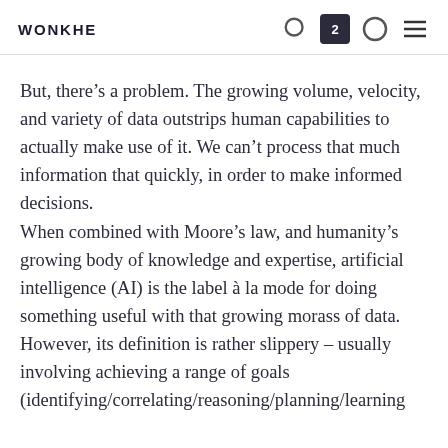WONKHE
But, there’s a problem. The growing volume, velocity, and variety of data outstrips human capabilities to actually make use of it. We can’t process that much information that quickly, in order to make informed decisions.
When combined with Moore’s law, and humanity’s growing body of knowledge and expertise, artificial intelligence (AI) is the label à la mode for doing something useful with that growing morass of data. However, its definition is rather slippery – usually involving achieving a range of goals (identifying/correlating/reasoning/planning/learning